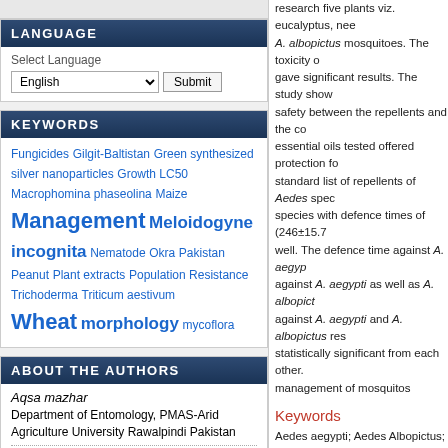LANGUAGE
Select Language
KEYWORDS
Fungicides Gilgit-Baltistan Green synthesized silver nanoparticles Growth LC50 Macrophomina phaseolina Maize Management Meloidogyne incognita Nematode Okra Pakistan Peanut Plant extracts Population Resistance Trichoderma Triticum aestivum Wheat morphology mycoflora
ABOUT THE AUTHORS
Aqsa mazhar
Department of Entomology, PMAS-Arid Agriculture University Rawalpindi Pakistan
Ahmad Hassan Tahir
research five plants viz. eucalyptus, nee A. albopictus mosquitoes. The toxicity o gave significant results. The study show safety between the repellents and the co essential oils tested offered protection fo standard list of repellents of Aedes spec species with defence times of (246±15.7 well. The defence time against A. aegyp against A. aegypti as well as A. albopict against A. aegypti and A. albopictus res statistically significant from each other. management of mosquitos
Keywords
Aedes aegypti; Aedes Albopictus; Botan
Full Text:
PDF
References
Abbott, W.S., 1925. A method of comput 265-267.
Ameen, M., Shahiahan, R.M., Khan, H